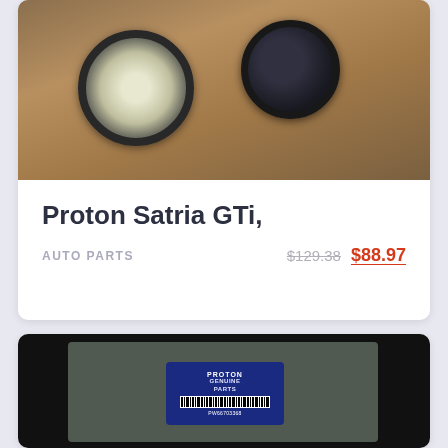[Figure (photo): Two fog lights/lamps for Proton Satria GTi on a wooden surface with silver wrapping]
Proton Satria GTi,
AUTO PARTS   $129.38  $88.97
[Figure (photo): Proton Genuine Parts in plastic bag with barcode label showing part number PW667033-08]